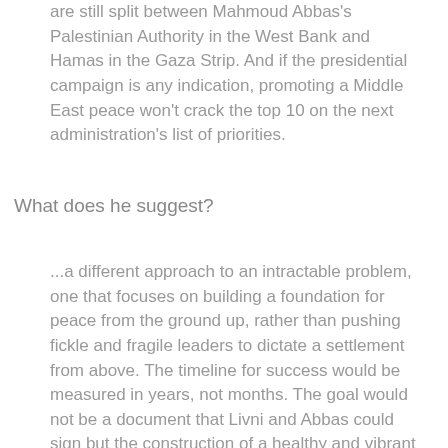are still split between Mahmoud Abbas's Palestinian Authority in the West Bank and Hamas in the Gaza Strip. And if the presidential campaign is any indication, promoting a Middle East peace won't crack the top 10 on the next administration's list of priorities.
What does he suggest?
...a different approach to an intractable problem, one that focuses on building a foundation for peace from the ground up, rather than pushing fickle and fragile leaders to dictate a settlement from above. The timeline for success would be measured in years, not months. The goal would not be a document that Livni and Abbas could sign but the construction of a healthy and vibrant Palestinian civil society -- that is, independent media, courts, political parties and nongovernmental organizations that could stand